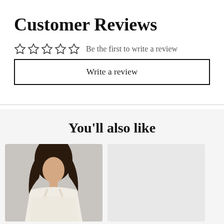Customer Reviews
☆☆☆☆☆  Be the first to write a review
Write a review
You'll also like
[Figure (photo): A woman wearing a white lace/beaded spaghetti-strap dress, with long dark hair, against a light background. Product card for a clothing item.]
[Figure (photo): A gray placeholder card for a second product.]
Questions? We can help. Chat with us now.